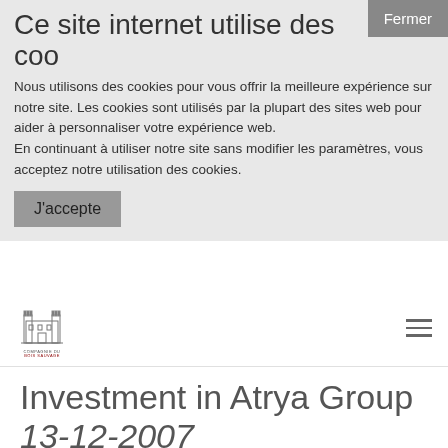Ce site internet utilise des coo
Nous utilisons des cookies pour vous offrir la meilleure expérience sur notre site. Les cookies sont utilisés par la plupart des sites web pour aider à personnaliser votre expérience web.
En continuant à utiliser notre site sans modifier les paramètres, vous acceptez notre utilisation des cookies.
J'accepte
Fermer
[Figure (logo): Compagnie du Bois Sauvage logo - building/castle illustration with text below]
Investment in Atrya Group 13-12-2007
Matignon Investissement and Gestion, acting on behalf of Matignon Investissements 2 FCPR, and Compagnie du